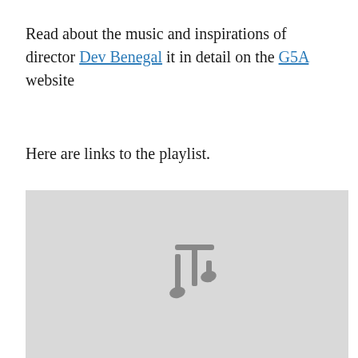Read about the music and inspirations of director Dev Benegal it in detail on the G5A website
Here are links to the playlist.
[Figure (illustration): A light gray rectangular placeholder image with a gray musical note icon centered near the bottom.]